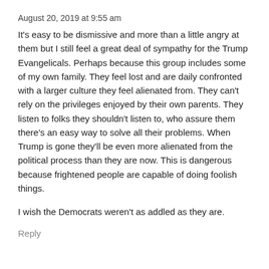August 20, 2019 at 9:55 am
It's easy to be dismissive and more than a little angry at them but I still feel a great deal of sympathy for the Trump Evangelicals. Perhaps because this group includes some of my own family. They feel lost and are daily confronted with a larger culture they feel alienated from. They can't rely on the privileges enjoyed by their own parents. They listen to folks they shouldn't listen to, who assure them there's an easy way to solve all their problems. When Trump is gone they'll be even more alienated from the political process than they are now. This is dangerous because frightened people are capable of doing foolish things.
I wish the Democrats weren't as addled as they are.
Reply